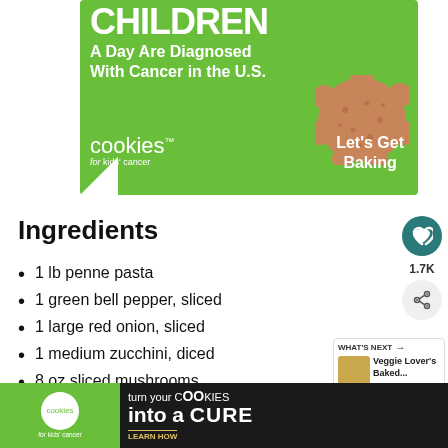[Figure (infographic): Green advertisement banner for 'cookies for kids' cancer' showing text 'CHILDREN A Day Are Diagnosed With Cancer in the U.S.' with a cookie image and 'Let's Get Baking' call to action]
Ingredients
1 lb penne pasta
1 green bell pepper, sliced
1 large red onion, sliced
1 medium zucchini, diced
8 oz sliced mushrooms
[Figure (infographic): Bottom banner advertisement for 'cookies for kids cancer' with text 'turn your COOKIES into a CURE LEARN HOW' on dark background]